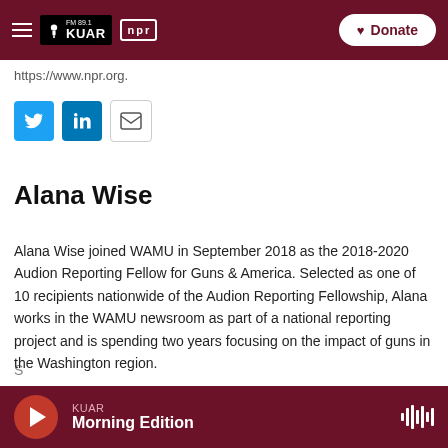FM 89.1 KUAR | NPR — Donate
https://www.npr.org.
[Figure (other): Social sharing buttons: Twitter, LinkedIn, Email]
Alana Wise
Alana Wise joined WAMU in September 2018 as the 2018-2020 Audion Reporting Fellow for Guns & America. Selected as one of 10 recipients nationwide of the Audion Reporting Fellowship, Alana works in the WAMU newsroom as part of a national reporting project and is spending two years focusing on the impact of guns in the Washington region.
KUAR Morning Edition